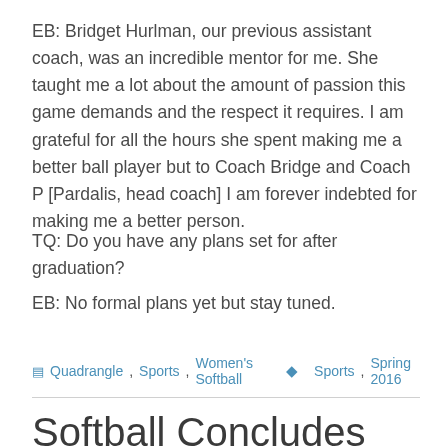EB: Bridget Hurlman, our previous assistant coach, was an incredible mentor for me. She taught me a lot about the amount of passion this game demands and the respect it requires. I am grateful for all the hours she spent making me a better ball player but to Coach Bridge and Coach P [Pardalis, head coach] I am forever indebted for making me a better person.
TQ: Do you have any plans set for after graduation?
EB: No formal plans yet but stay tuned.
Quadrangle, Sports, Women's Softball   Sports, Spring 2016
Softball Concludes Long